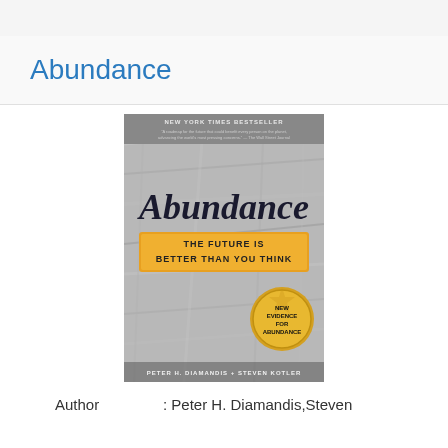Abundance
[Figure (photo): Book cover of 'Abundance: The Future Is Better Than You Think' by Peter H. Diamandis and Steven Kotler. New York Times Bestseller. Shows a crumpled silver foil background with the title 'Abundance' in large handwritten-style text, subtitle on a yellow banner 'THE FUTURE IS BETTER THAN YOU THINK', a gold circular badge reading 'NEW EVIDENCE FOR ABUNDANCE', and author names at the bottom.]
Author        : Peter H. Diamandis,Steven